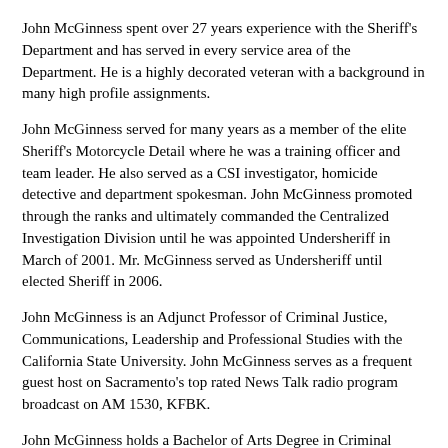John McGinness spent over 27 years experience with the Sheriff's Department and has served in every service area of the Department. He is a highly decorated veteran with a background in many high profile assignments.
John McGinness served for many years as a member of the elite Sheriff's Motorcycle Detail where he was a training officer and team leader. He also served as a CSI investigator, homicide detective and department spokesman. John McGinness promoted through the ranks and ultimately commanded the Centralized Investigation Division until he was appointed Undersheriff in March of 2001. Mr. McGinness served as Undersheriff until elected Sheriff in 2006.
John McGinness is an Adjunct Professor of Criminal Justice, Communications, Leadership and Professional Studies with the California State University. John McGinness serves as a frequent guest host on Sacramento's top rated News Talk radio program broadcast on AM 1530, KFBK.
John McGinness holds a Bachelor of Arts Degree in Criminal Justice with a minor in Public Administration and a Master of Science Degree in Emergency Services Administration from the California State University, Long Beach, and is a graduate of the